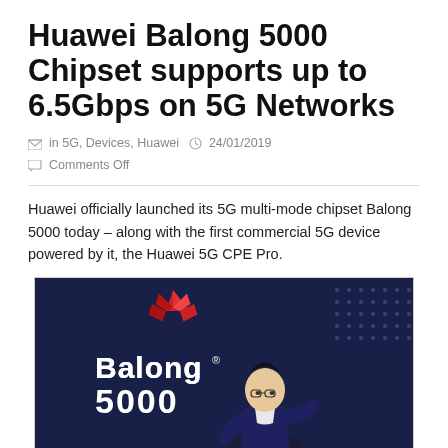Huawei Balong 5000 Chipset supports up to 6.5Gbps on 5G Networks
in 5G, Devices, Huawei  24/01/2019  Comments Off
Huawei officially launched its 5G multi-mode chipset Balong 5000 today – along with the first commercial 5G device powered by it, the Huawei 5G CPE Pro.
[Figure (photo): A man in a dark suit presenting on stage in front of a Huawei Balong 5000 display backdrop with the Huawei logo (red mountain icon) and 'Balong 5000' text lit up in the background.]